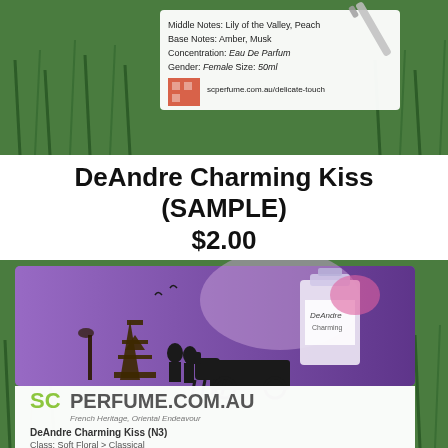[Figure (photo): Top photo showing a perfume sample vial on green grass background with a white label card showing product details including Base Notes: Amber, Musk, Concentration: Eau De Parfum, Gender: Female Size: 50ml, QR code, and scperfume.com.au/delicate-touch URL]
DeAndre Charming Kiss
(SAMPLE)
$2.00
[Figure (photo): Bottom photo showing a perfume sample packet on green grass. The packet shows a Parisian romantic scene with the Eiffel Tower, a couple, and a horse-drawn carriage silhouetted against a purple background, with the DeAndre perfume bottle visible. Below shows the SCPERFUME.COM.AU logo with tagline 'French Heritage, Oriental Endeavour' and text 'DeAndre Charming Kiss (N3)' and 'Class: Soft Floral > Classical']